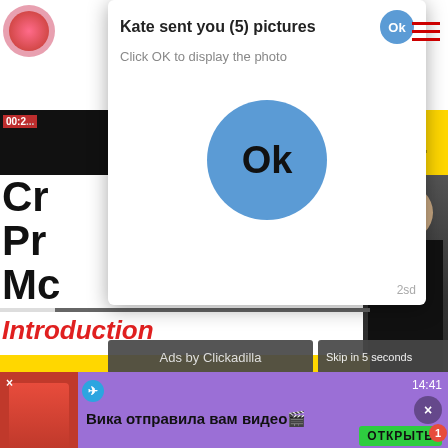[Figure (screenshot): Screenshot of a mobile browser showing a video page with a popup ad overlay. The popup reads 'Kate sent you (5) pictures' with 'Click OK to display the photo' and a blue OK circle button. Behind the popup is a video thumbnail showing 'Chapter 1 Class 8 Science | Crop Production and Management - Introduction | Class 8 Science' with NCERT/CBSE branding on a yellow background. An 'Ads by Clickadilla' banner and 'Skip in 5 seconds X' button are visible. A bottom notification banner in purple shows 'Вика отправила вам видео' with an ОТКРЫТЬ (OPEN) button.]
Kate sent you (5) pictures
Click OK to display the photo
Ok
2sd
Introduction
NCERT/CBSE
Ads by Clickadilla
Skip in 5 seconds ×
Chapter 1 Class 8 Science | Crop Production and Management - Introduction | Class 8 Science
Вика отправила вам видео🎬
ОТКРЫТЬ
14:41